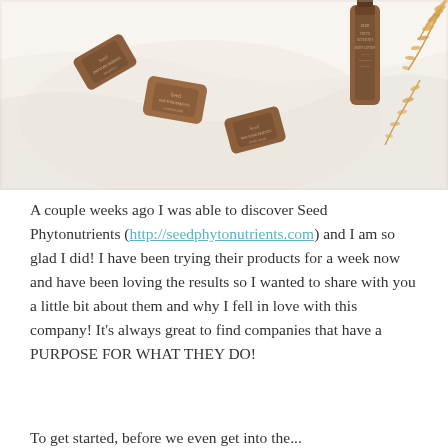[Figure (photo): Flatlay photo of Seed Phytonutrients brown product packets and a tall bottle arranged on white fabric with dried orange botanical ferns in the corner]
A couple weeks ago I was able to discover Seed Phytonutrients (http://seedphytonutrients.com) and I am so glad I did! I have been trying their products for a week now and have been loving the results so I wanted to share with you a little bit about them and why I fell in love with this company! It's always great to find companies that have a PURPOSE FOR WHAT THEY DO!
To get started, before we even get into the...